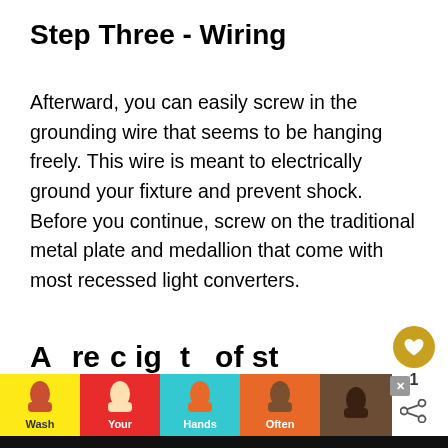Step Three - Wiring
Afterward, you can easily screw in the grounding wire that seems to be hanging freely. This wire is meant to electrically ground your fixture and prevent shock. Before you continue, screw on the traditional metal plate and medallion that come with most recessed light converters.
Finally, you can install your new pendant light, which may involve different directions based on the kind of new fixture you have selected.
[Figure (infographic): Yellow circular button with heart icon (favoriting UI), like count '1', and share icon below]
[Figure (infographic): What's Next panel: brown circular thumbnail, label 'WHAT'S NEXT ->', text 'Can Recessed Lighting Be...']
[Figure (infographic): Bottom advertisement banner with hand-washing instructions: 'Wash Your Hands Often' with colorful hand icons on yellow, red, cyan, orange, and brown backgrounds, and an X close button]